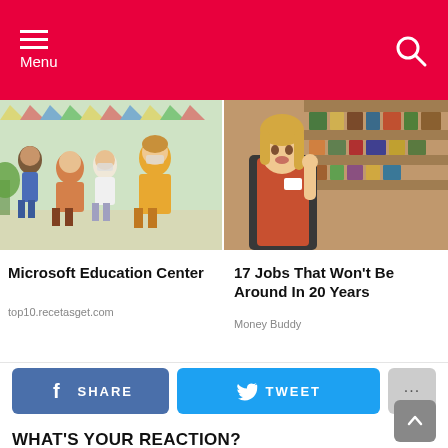Menu
[Figure (photo): Children and teacher in a classroom setting with colorful decorations, some children wearing masks]
Microsoft Education Center
top10.recetasget.com
[Figure (photo): Young woman in an apron standing in a grocery store aisle looking at camera]
17 Jobs That Won't Be Around In 20 Years
Money Buddy
SHARE
TWEET
WHAT'S YOUR REACTION?